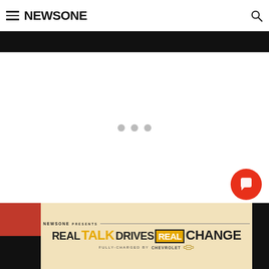NEWSONE
[Figure (screenshot): NewsOne website screenshot showing navigation header with hamburger menu, NEWSONE logo, and search icon. Below is a black banner bar, a large white loading/content area with three gray loading dots in the center, a chat button (orange circle with speech bubble icon), a close button (X), and a bottom advertisement banner reading 'NEWSONE PRESENTS REAL TALK DRIVES REAL CHANGE FULLY CHARGED BY CHEVROLET' on a tan/cream background.]